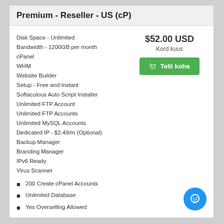Premium - Reseller - US (cP)
Disk Space - Unlimited
Bandwidth - 1200GB per month
cPanel
WHM
Website Builder
Setup - Free and Instant
Softaculous Auto Script Installer
Unlimited FTP Account
Unlimited FTP Accounts
Unlimited MySQL Accounts
Dedicated IP - $2.49/m (Optional)
Backup Manager
Branding Manager
IPv6 Ready
Virus Scanner
$52.00 USD
Kord kuus
🛒 Telli kohe
200 Create cPanel Accounts
Unlimited Database
Yes Overselling Allowed